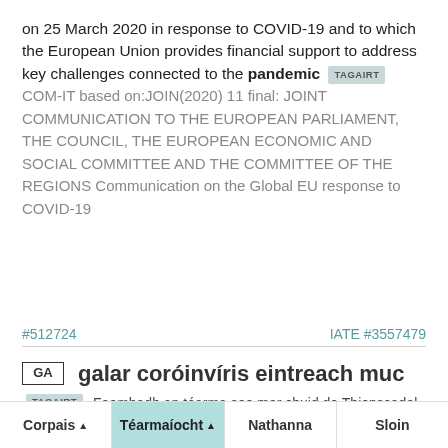on 25 March 2020 in response to COVID-19 and to which the European Union provides financial support to address key challenges connected to the pandemic TAGAIRT COM-IT based on:JOIN(2020) 11 final: JOINT COMMUNICATION TO THE EUROPEAN PARLIAMENT, THE COUNCIL, THE EUROPEAN ECONOMIC AND SOCIAL COMMITTEE AND THE COMMITTEE OF THE REGIONS Communication on the Global EU response to COVID-19
#512724    IATE #3557479
GA  galar coróinvíris eintreach muc
TAGAIRT Faomhadh an téarma seo mar chuid de Thionscadal Lex
Corpais ▲   Téarmaíocht ▲   Nathanna   Sloin